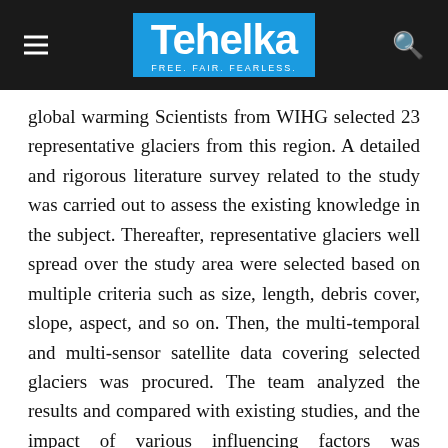Tehelka — FREE. FAIR. FEARLESS.
global warming Scientists from WIHG selected 23 representative glaciers from this region. A detailed and rigorous literature survey related to the study was carried out to assess the existing knowledge in the subject. Thereafter, representative glaciers well spread over the study area were selected based on multiple criteria such as size, length, debris cover, slope, aspect, and so on. Then, the multi-temporal and multi-sensor satellite data covering selected glaciers was procured. The team analyzed the results and compared with existing studies, and the impact of various influencing factors was systematically explored to understand the glaciers state.
The behavior of glaciers in the region is